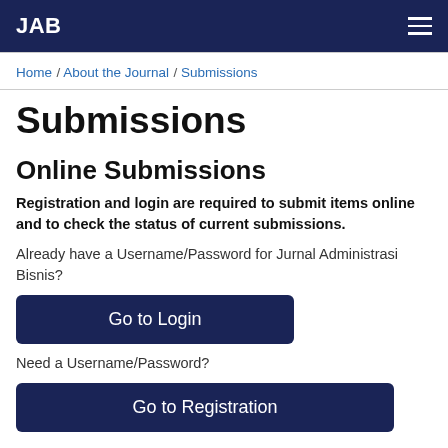JAB
Home / About the Journal / Submissions
Submissions
Online Submissions
Registration and login are required to submit items online and to check the status of current submissions.
Already have a Username/Password for Jurnal Administrasi Bisnis?
Go to Login
Need a Username/Password?
Go to Registration